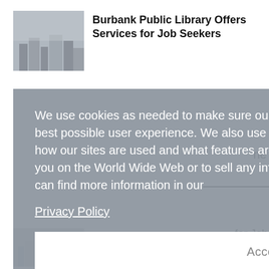Burbank Public Library Offers Services for Job Seekers
[Figure (photo): Thumbnail image of Burbank Leader newspaper with city skyline/building photo in grayscale]
We use cookies as needed to make sure our sites work properly and to provide the best possible user experience. We also use analytics cookies to give us insights into how our sites are used and what features are popular. We do not use cookies to track you on the World Wide Web or to sell any information about you to third-parties. You can find more information in our
Privacy Policy
Accept
[Figure (photo): Partial thumbnail image at bottom of page, grayscale]
Seekers